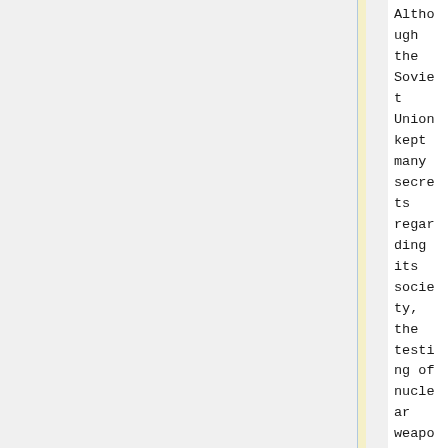Although the Soviet Union kept many secrets regarding its society, the testing of nuclear weapons was certainly not one of them, and by 1949, it was starkly evident to the world that they could create these weapons; and, as was the case in